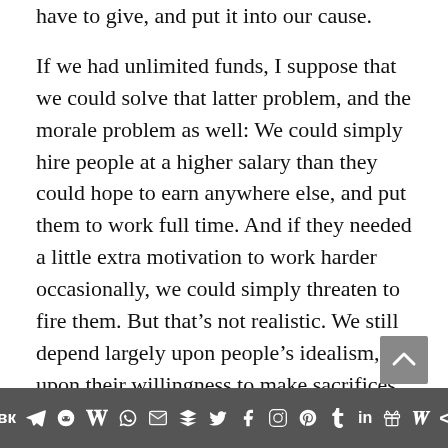have to give, and put it into our cause.
If we had unlimited funds, I suppose that we could solve that latter problem, and the morale problem as well: We could simply hire people at a higher salary than they could hope to earn anywhere else, and put them to work full time. And if they needed a little extra motivation to work harder occasionally, we could simply threaten to fire them. But that’s not realistic. We still depend largely upon people’s idealism, upon their willingness to make sacrifices, and we always will, even if we become a lot richer than we are.
Social media toolbar icons